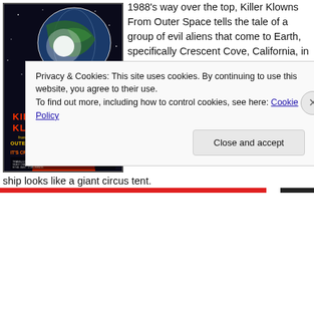[Figure (photo): Movie poster for Killer Klowns From Outer Space (1988), featuring a giant alien in clown costume holding Earth with vivid neon colors, space background, with tagline IT'S CRAAZZY!]
1988's way over the top, Killer Klowns From Outer Space tells the tale of a group of evil aliens that come to Earth, specifically Crescent Cove, California, in their space craft  to harvest humans. Pretty typical of a Sci-Fi horror film, I know, but these aliens look like demented clowns, and their space ship looks like a giant circus tent.
Privacy & Cookies: This site uses cookies. By continuing to use this website, you agree to their use.
To find out more, including how to control cookies, see here: Cookie Policy